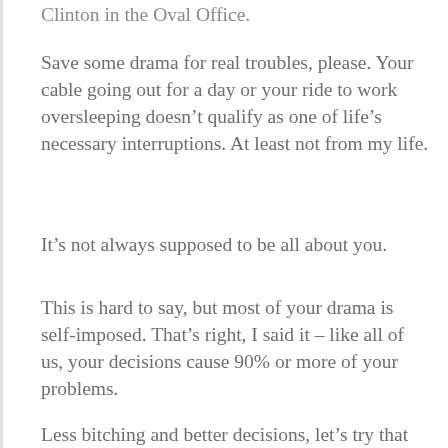Clinton in the Oval Office.
Save some drama for real troubles, please. Your cable going out for a day or your ride to work oversleeping doesn’t qualify as one of life’s necessary interruptions. At least not from my life.
It’s not always supposed to be all about you.
This is hard to say, but most of your drama is self-imposed. That’s right, I said it – like all of us, your decisions cause 90% or more of your problems.
Less bitching and better decisions, let’s try that for a while, shall we?